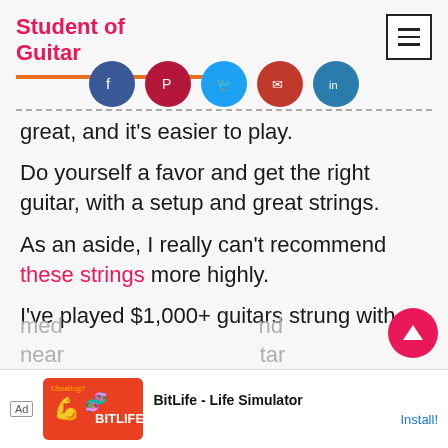Student of Guitar
[Figure (other): Social sharing icons row: Facebook (blue), Pinterest (dark red), Twitter (light blue), Email (red), LinkedIn (blue)]
… get the guitar setup, …
great, and it's easier to play.
Do yourself a favor and get the right guitar, with a setup and great strings.
As an aside, I really can't recommend these strings more highly.
I've played $1,000+ guitars strung with
[Figure (other): BitLife - Life Simulator advertisement banner at bottom of page]